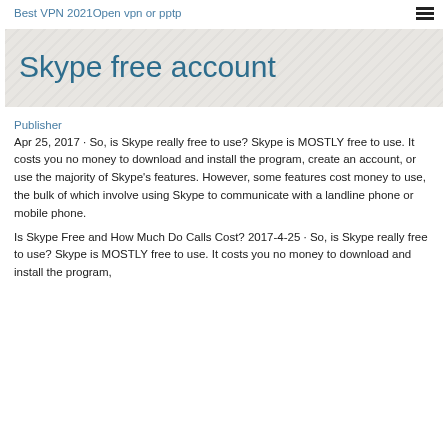Best VPN 2021Open vpn or pptp
Skype free account
Publisher
Apr 25, 2017 · So, is Skype really free to use? Skype is MOSTLY free to use. It costs you no money to download and install the program, create an account, or use the majority of Skype's features. However, some features cost money to use, the bulk of which involve using Skype to communicate with a landline phone or mobile phone.
Is Skype Free and How Much Do Calls Cost? 2017-4-25 · So, is Skype really free to use? Skype is MOSTLY free to use. It costs you no money to download and install the program,